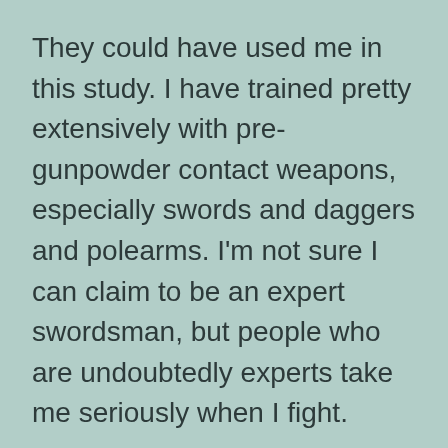They could have used me in this study. I have trained pretty extensively with pre-gunpowder contact weapons, especially swords and daggers and polearms. I'm not sure I can claim to be an expert swordsman, but people who are undoubtedly experts take me seriously when I fight.
I'm laying out these credentials because I want to make a point about the premise of the study. When you've trained with enough different varieties of swords – and my experience spans everything from very late dueling epees back to Viking-era cut-and-thrust weapons built in